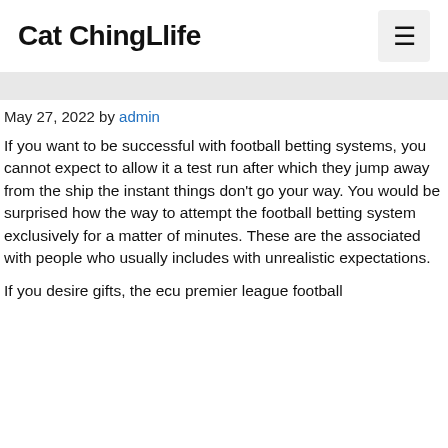Cat ChingLlife
May 27, 2022 by admin
If you want to be successful with football betting systems, you cannot expect to allow it a test run after which they jump away from the ship the instant things don't go your way. You would be surprised how the way to attempt the football betting system exclusively for a matter of minutes. These are the associated with people who usually includes with unrealistic expectations.
If you desire gifts, the ecu premier league football